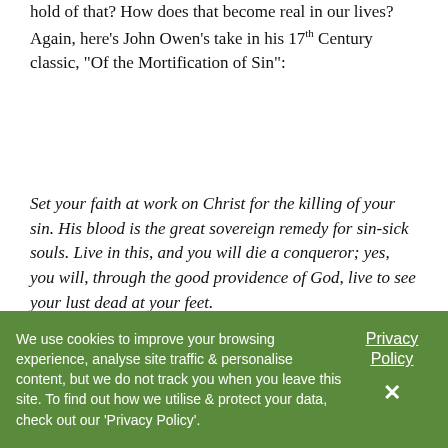hold of that? How does that become real in our lives? Again, here's John Owen's take in his 17th Century classic, "Of the Mortification of Sin":
Set your faith at work on Christ for the killing of your sin. His blood is the great sovereign remedy for sin-sick souls. Live in this, and you will die a conqueror; yes, you will, through the good providence of God, live to see your lust dead at your feet.
There it is. God's sovereign remedy for our sin. Faith in the blood of Christ leaves our lusts dead at our feet. The blood of Christ. For us, for our lust...
We use cookies to improve your browsing experience, analyse site traffic & personalise content, but we do not track you when you leave this site. To find out how we utilise & protect your data, check out our 'Privacy Policy'.